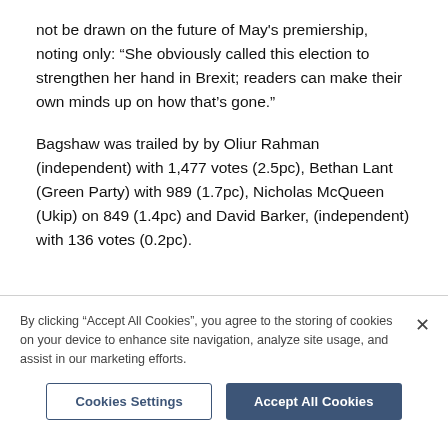not be drawn on the future of May's premiership, noting only: “She obviously called this election to strengthen her hand in Brexit; readers can make their own minds up on how that’s gone.”
Bagshaw was trailed by by Oliur Rahman (independent) with 1,477 votes (2.5pc), Bethan Lant (Green Party) with 989 (1.7pc), Nicholas McQueen (Ukip) on 849 (1.4pc) and David Barker, (independent) with 136 votes (0.2pc).
By clicking “Accept All Cookies”, you agree to the storing of cookies on your device to enhance site navigation, analyze site usage, and assist in our marketing efforts.